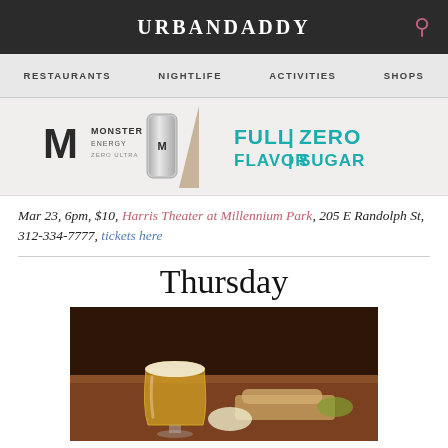URBANDADDY
RESTAURANTS  NIGHTLIFE  ACTIVITIES  SHOPS
[Figure (infographic): Monster Energy Zero Ultra advertisement banner with text FULL FLAVOR | ZERO SUGAR]
Mar 23, 6pm, $10, Harris Theater at Millennium Park, 205 E Randolph St, 312-334-7777, tickets here
Thursday
[Figure (photo): Photo of a beer glass on a wooden table with food items]